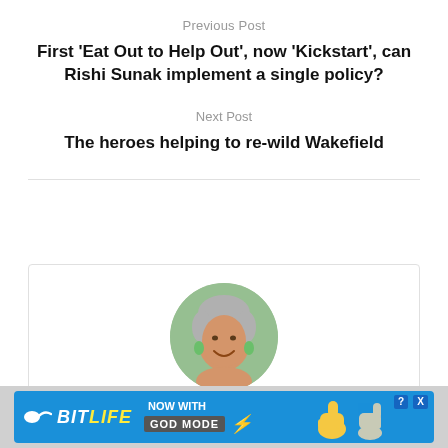Previous Post
First ‘Eat Out to Help Out’, now ‘Kickstart’, can Rishi Sunak implement a single policy?
Next Post
The heroes helping to re-wild Wakefield
[Figure (photo): Circular portrait photo of Sue Wilson MBE, a woman with short grey hair and green earrings, smiling outdoors with green foliage background]
Sue Wilson MBE
[Figure (infographic): Advertisement banner for BitLife game with God Mode feature, showing logo, thumbs up hand icon, question mark and close buttons]